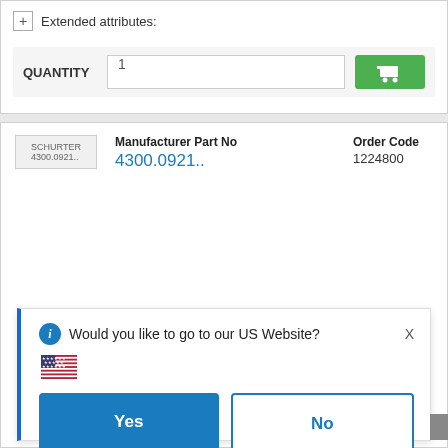+ Extended attributes:
QUANTITY  1
[Figure (screenshot): SCHURTER 4300.0921.. product thumbnail placeholder image]
Manufacturer Part No
4300.0921..
Order Code
1224800
Would you like to go to our US Website?
[Figure (illustration): US flag emoji / icon]
Yes
No
or  Choose country
Remember this choice and automatically redirect me in the future